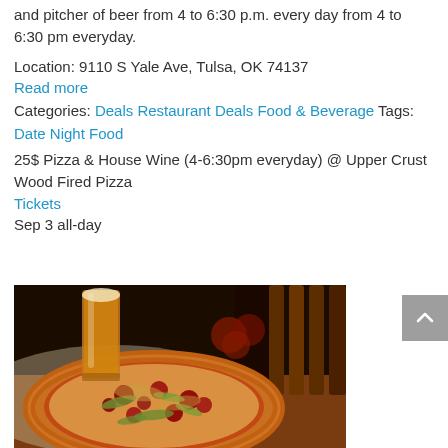and pitcher of beer from 4 to 6:30 p.m. every day from 4 to 6:30 pm everyday.
Location: 9110 S Yale Ave, Tulsa, OK 74137
Read more
Categories: Deals Restaurant Deals Food & Beverage Tags: Date Night Food
25$ Pizza & House Wine (4-6:30pm everyday) @ Upper Crust Wood Fired Pizza
Tickets
Sep 3 all-day
[Figure (photo): A pizza with meat toppings and green herbs on a wooden board, with a glass of beer in the background]